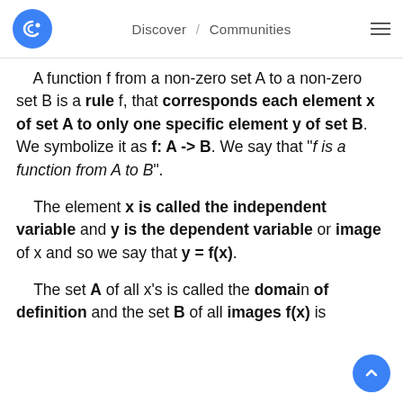Discover / Communities
A function f from a non-zero set A to a non-zero set B is a rule f, that corresponds each element x of set A to only one specific element y of set B. We symbolize it as f: A -> B. We say that "f is a function from A to B".
The element x is called the independent variable and y is the dependent variable or image of x and so we say that y = f(x).
The set A of all x's is called the domain of definition and the set B of all images f(x) is